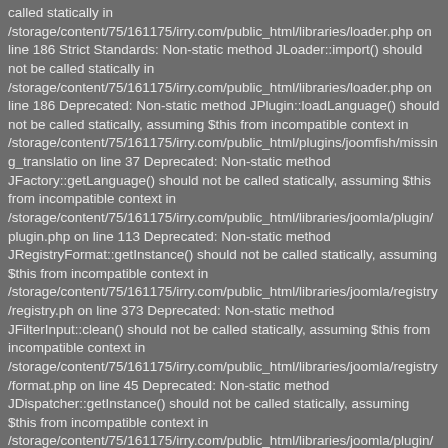called statically in /storage/content/75/161175/irry.com/public_html/libraries/loader.php on line 186 Strict Standards: Non-static method JLoader::import() should not be called statically in /storage/content/75/161175/irry.com/public_html/libraries/loader.php on line 186 Deprecated: Non-static method JPlugin::loadLanguage() should not be called statically, assuming $this from incompatible context in /storage/content/75/161175/irry.com/public_html/plugins/joomfish/missing_translatio on line 37 Deprecated: Non-static method JFactory::getLanguage() should not be called statically, assuming $this from incompatible context in /storage/content/75/161175/irry.com/public_html/libraries/joomla/plugin/plugin.php on line 113 Deprecated: Non-static method JRegistryFormat::getInstance() should not be called statically, assuming $this from incompatible context in /storage/content/75/161175/irry.com/public_html/libraries/joomla/registry/registry.ph on line 373 Deprecated: Non-static method JFilterInput::clean() should not be called statically, assuming $this from incompatible context in /storage/content/75/161175/irry.com/public_html/libraries/joomla/registry/format.php on line 45 Deprecated: Non-static method JDispatcher::getInstance() should not be called statically, assuming $this from incompatible context in /storage/content/75/161175/irry.com/public_html/libraries/joomla/plugin/helper.php on line 140 Deprecated: Non-static method JPluginHelper::getPlugin() should not be called statically, assuming $this from incompatible context in /storage/content/75/161175/irry.com/public_html/libraries/joomla/plugin/helper.php on line 147 Deprecated: Non-static method JPluginHelper::_load() should not be called statically, assuming $this from incompatible context in /storage/content/75/161175/irry.com/public_html/libraries/joomla/plugin/helper.php on line 41 Deprecated: Non-static method JRegistryFormat::getInstance() should not be called statically, assuming $this from incompatible context in